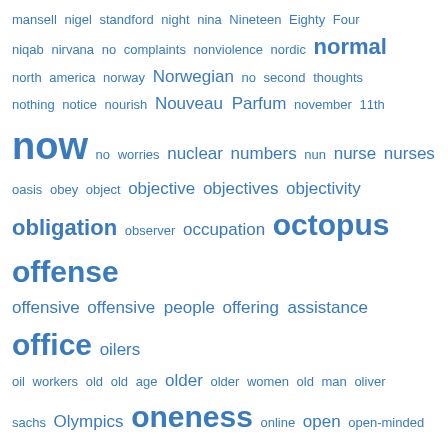[Figure (infographic): Tag cloud / word cloud with words in varying sizes, all in blue, representing topics starting with letters m through p. Larger words indicate higher frequency/importance.]